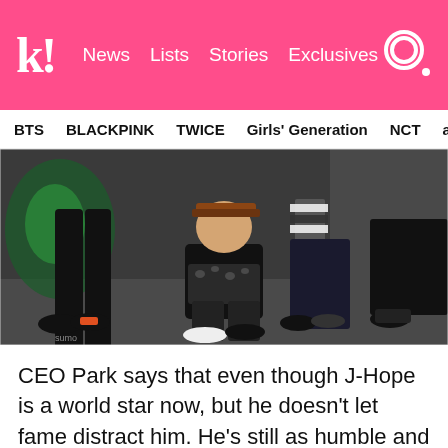k! News Lists Stories Exclusives
BTS BLACKPINK TWICE Girls' Generation NCT aespa
[Figure (photo): Group of young people in black outfits posing in a dark industrial setting, with one person crouching in the center wearing a cap and black jacket with leopard print top]
CEO Park says that even though J-Hope is a world star now, but he doesn't let fame distract him. He's still as humble and polite as ever. He still asks for advice from those around him, and he's always respectful when speaking to people,